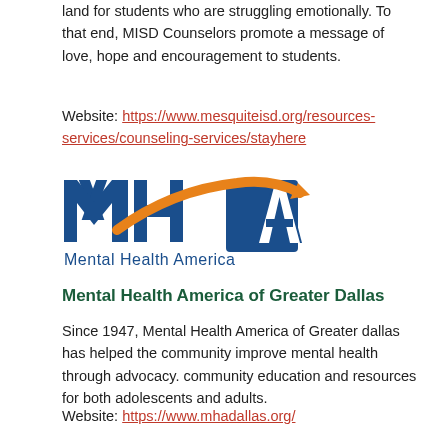land for students who are struggling emotionally. To that end, MISD Counselors promote a message of love, hope and encouragement to students.
Website: https://www.mesquiteisd.org/resources-services/counseling-services/stayhere
[Figure (logo): Mental Health America (MHA) logo with blue block letters M, H, A and an orange swoosh arc, with text 'Mental Health America' below in blue]
Mental Health America of Greater Dallas
Since 1947, Mental Health America of Greater dallas has helped the community improve mental health through advocacy. community education and resources for both adolescents and adults.
Website: https://www.mhadallas.org/